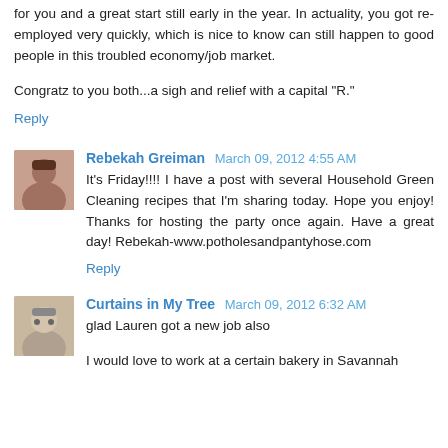for you and a great start still early in the year. In actuality, you got re-employed very quickly, which is nice to know can still happen to good people in this troubled economy/job market.
Congratz to you both...a sigh and relief with a capital "R."
Reply
Rebekah Greiman March 09, 2012 4:55 AM
It's Friday!!!! I have a post with several Household Green Cleaning recipes that I'm sharing today. Hope you enjoy! Thanks for hosting the party once again. Have a great day! Rebekah-www.potholesandpantyhose.com
Reply
Curtains in My Tree March 09, 2012 6:32 AM
glad Lauren got a new job also
I would love to work at a certain bakery in Savannah